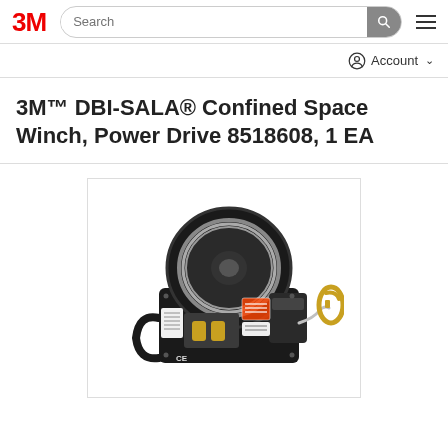3M Search Account
3M™ DBI-SALA® Confined Space Winch, Power Drive 8518608, 1 EA
[Figure (photo): 3M DBI-SALA Confined Space Winch Power Drive 8518608 product photo showing a black motorized winch with cable reel, handle, control box with warning labels, CE marking, and gold-colored carabiner hook attachment.]